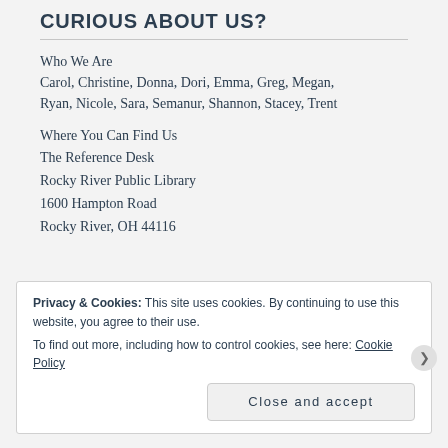CURIOUS ABOUT US?
Who We Are
Carol, Christine, Donna, Dori, Emma, Greg, Megan, Ryan, Nicole, Sara, Semanur, Shannon, Stacey, Trent
Where You Can Find Us
The Reference Desk
Rocky River Public Library
1600 Hampton Road
Rocky River, OH 44116
Privacy & Cookies: This site uses cookies. By continuing to use this website, you agree to their use.
To find out more, including how to control cookies, see here: Cookie Policy
Close and accept